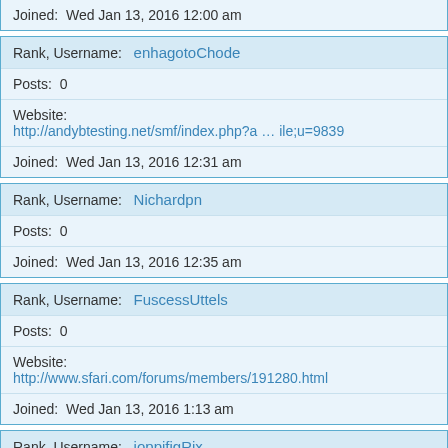Joined: Wed Jan 13, 2016 12:00 am
Rank, Username: enhagotoChode
Posts: 0
Website: http://andybtesting.net/smf/index.php?a ... ile;u=9839
Joined: Wed Jan 13, 2016 12:31 am
Rank, Username: Nichardpn
Posts: 0
Joined: Wed Jan 13, 2016 12:35 am
Rank, Username: FuscessUttels
Posts: 0
Website: http://www.sfari.com/forums/members/191280.html
Joined: Wed Jan 13, 2016 1:13 am
Rank, Username: joppifigRix
Posts: 0
Website: http://sbz.yuduxx.com/space-uid-115331.html
Joined: Wed Jan 13, 2016 1:15 am
Rank, Username: Frurserty